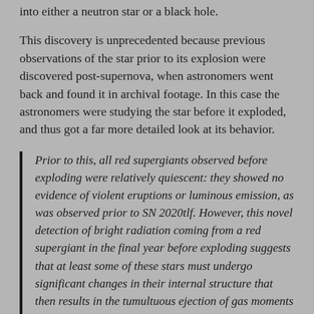into either a neutron star or a black hole.
This discovery is unprecedented because previous observations of the star prior to its explosion were discovered post-supernova, when astronomers went back and found it in archival footage. In this case the astronomers were studying the star before it exploded, and thus got a far more detailed look at its behavior.
Prior to this, all red supergiants observed before exploding were relatively quiescent: they showed no evidence of violent eruptions or luminous emission, as was observed prior to SN 2020tlf. However, this novel detection of bright radiation coming from a red supergiant in the final year before exploding suggests that at least some of these stars must undergo significant changes in their internal structure that then results in the tumultuous ejection of gas moments before they collapse.